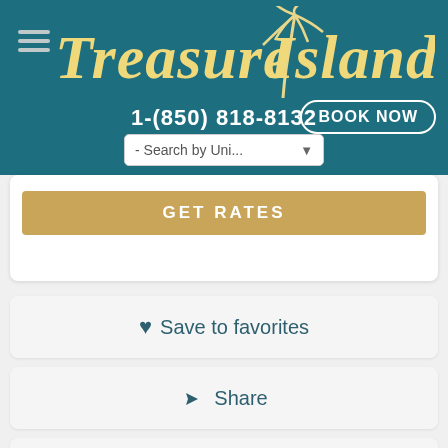[Figure (screenshot): Treasure Island vacation rental website header with teal background, logo in yellow italic script, palm tree graphic, phone number 1-(850) 818-8132, BOOK NOW button, and search dropdown]
GET RATES
♥ Save to favorites
Share
Show favorites